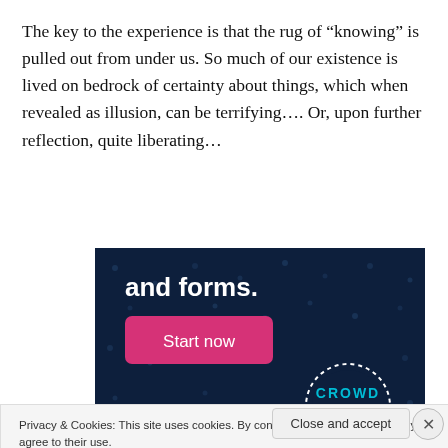The key to the experience is that the rug of “knowing” is pulled out from under us. So much of our existence is lived on bedrock of certainty about things, which when revealed as illusion, can be terrifying…. Or, upon further reflection, quite liberating…
[Figure (screenshot): Advertisement banner with dark navy background showing text 'and forms.' with a pink 'Start now' button and a circular CROWD logo in the bottom right]
Privacy & Cookies: This site uses cookies. By continuing to use this website, you agree to their use.
To find out more, including how to control cookies, see here: Cookie Policy